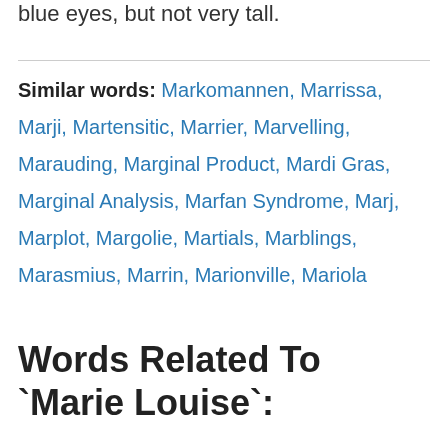blue eyes, but not very tall.
Similar words: Markomannen, Marrissa, Marji, Martensitic, Marrier, Marvelling, Marauding, Marginal Product, Mardi Gras, Marginal Analysis, Marfan Syndrome, Marj, Marplot, Margolie, Martials, Marblings, Marasmius, Marrin, Marionville, Mariola
Words Related To `Marie Louise`: